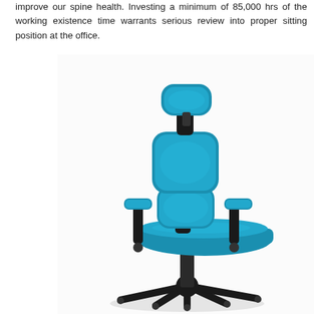improve our spine health. Investing a minimum of 85,000 hrs of the working existence time warrants serious review into proper sitting position at the office.
[Figure (photo): Photograph of an ergonomic office chair with teal/blue fabric upholstery, high back with lumbar and headrest support, adjustable armrests, and a black five-star base with casters, shown against a white background.]